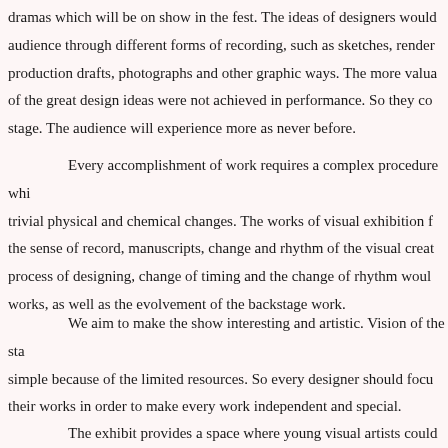dramas which will be on show in the fest. The ideas of designers would reach the audience through different forms of recording, such as sketches, renders, production drafts, photographs and other graphic ways. The more valuable some of the great design ideas were not achieved in performance. So they could be on stage. The audience will experience more as never before.
Every accomplishment of work requires a complex procedure which involves trivial physical and chemical changes. The works of visual exhibition focus on the sense of record, manuscripts, change and rhythm of the visual creation process of designing, change of timing and the change of rhythm would inspire works, as well as the evolvement of the backstage work.
We aim to make the show interesting and artistic. Vision of the stage is simple because of the limited resources. So every designer should focus on their works in order to make every work independent and special.
The exhibit provides a space where young visual artists could excl...